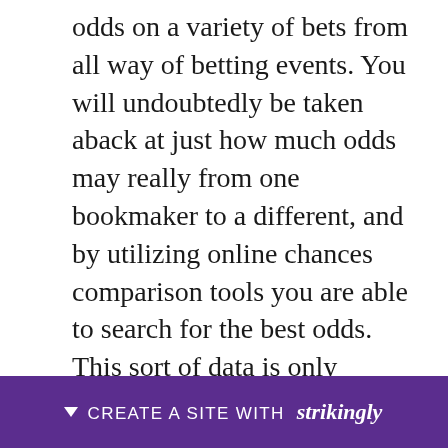odds on a variety of bets from all way of betting events. You will undoubtedly be taken aback at just how much odds may really from one bookmaker to a different, and by utilizing online chances comparison tools you are able to search for the best odds. This sort of data is only available on the web, but is absolve to use. If you're sat in the bookmakers all day you is only going to get the odds accessible from that particular shop, which may be significantly faster than they're elsewhere.
3) P[partially obscured]rs to b[partially obscured]e is
[Figure (other): Strikingly website builder banner with purple background, downward arrow icon, text 'CREATE A SITE WITH strikingly']